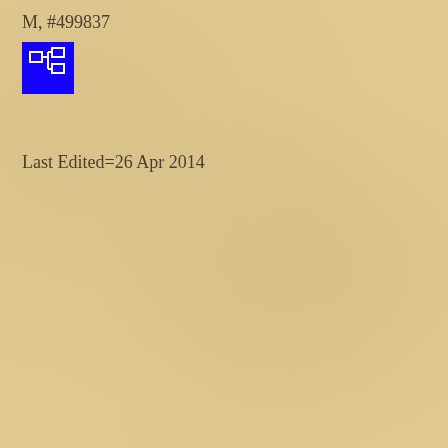M, #499837
[Figure (other): Blue square icon with white hierarchical/tree diagram symbol]
Last Edited=26 Apr 2014